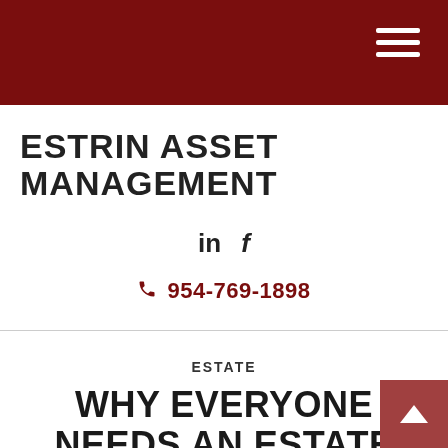Estrin Asset Management – Navigation header with hamburger menu
ESTRIN ASSET MANAGEMENT
in  f
954-769-1898
ESTATE
WHY EVERYONE NEEDS AN ESTATE STRATEGY